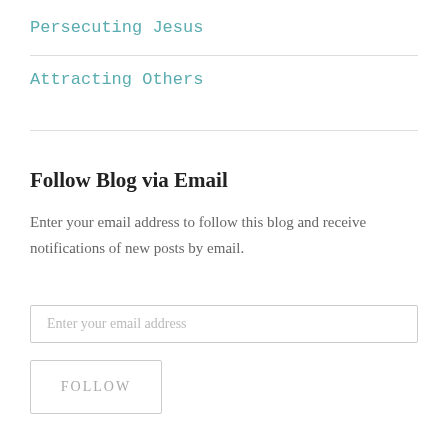Persecuting Jesus
Attracting Others
Follow Blog via Email
Enter your email address to follow this blog and receive notifications of new posts by email.
Enter your email address
FOLLOW